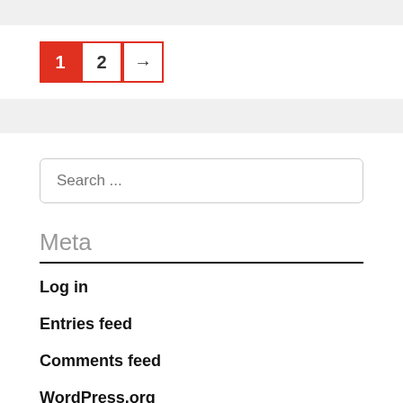[Figure (screenshot): Pagination widget with three boxes: active red box with '1', white box with '2', white box with right arrow]
[Figure (screenshot): Search input box with placeholder text 'Search ...']
Meta
Log in
Entries feed
Comments feed
WordPress.org